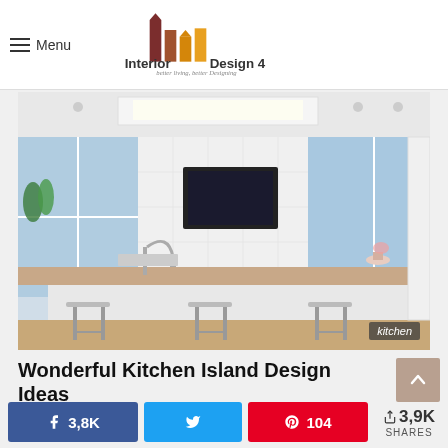Menu | Interior Design 4 — better living, better Designing
[Figure (photo): Modern white kitchen island with bar stools, wall-mounted TV, large windows with ocean view, and kitchen utensils on the counter. Label: kitchen]
Wonderful Kitchen Island Design Ideas
Facebook 3,8K | Twitter (share) | Pinterest 104 | Share 3,9K SHARES